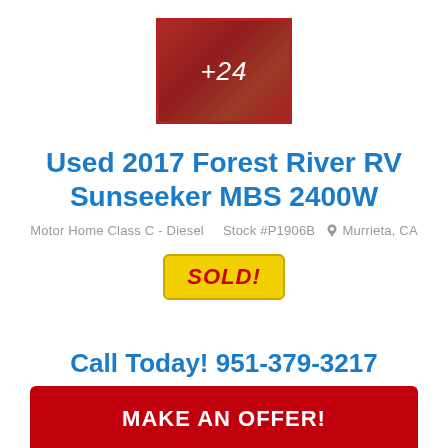[Figure (photo): Thumbnail image of RV interior with red overlay and +24 label indicating 24 more photos]
Used 2017 Forest River RV Sunseeker MBS 2400W
Motor Home Class C - Diesel   Stock #P1906B   Murrieta, CA
[Figure (other): SOLD! badge in red text on yellow background]
Call Today! 951-379-3217
MAKE AN OFFER!